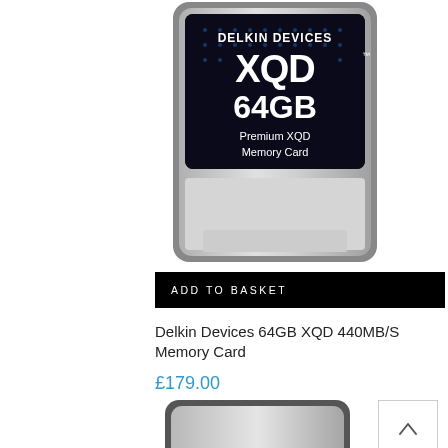[Figure (photo): Delkin Devices 64GB XQD Premium XQD Memory Card product photo, silver and black card with blue dot matrix design]
ADD TO BASKET
Delkin Devices 64GB XQD 440MB/S Memory Card
£179.00
[Figure (photo): Delkin Devices BLACK CFexpress card product photo, silver and black card, partially visible]
[Figure (other): Scroll up arrow button]